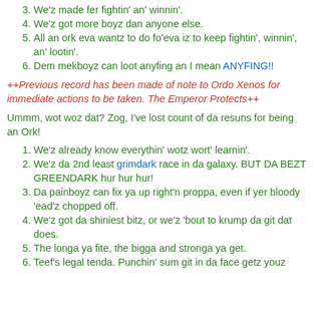3. We'z made fer fightin' an' winnin'.
4. We'z got more boyz dan anyone else.
5. All an ork eva wantz to do fo'eva iz to keep fightin', winnin', an' lootin'.
6. Dem mekboyz can loot anyfing an I mean ANYFING!!
++Previous record has been made of note to Ordo Xenos for immediate actions to be taken. The Emperor Protects++
Ummm, wot woz dat? Zog, I've lost count of da resuns for being an Ork!
1. We'z already know everythin' wotz wort' learnin'.
2. We'z da 2nd least grimdark race in da galaxy. BUT DA BEZT GREENDARK hur hur hur!
3. Da painboyz can fix ya up right'n proppa, even if yer bloody 'ead'z chopped off.
4. We'z got da shiniest bitz, or we'z 'bout to krump da git dat does.
5. The longa ya fite, the bigga and stronga ya get.
6. Teef's legal tenda. Punchin' sum git in da face getz youz more teef.